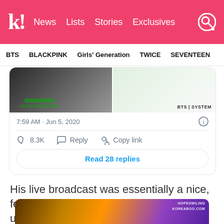K! News Lists Stories Exclusives
BTS BLACKPINK Girls' Generation TWICE SEVENTEEN
[Figure (screenshot): Tweet screenshot showing two images side by side (dark image on left, light image on right with BTS | SYSTEM watermark), timestamp 7:59 AM · Jun 5, 2020, with 8.3K likes, Reply, Copy link actions, and 'Read 28 replies' button]
His live broadcast was essentially a nice, feel-good way of bonding with ARMYs, until something unexpected happened:
[Figure (photo): Photo of a person wearing a black cap, with warm orange backlight and purple background, HOPESMILING watermark in top right]